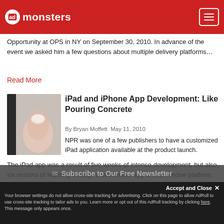admonsters
Opportunity at OPS in NY on September 30, 2010. In advance of the event we asked him a few questions about multiple delivery platforms…
Read More
iPad and iPhone App Development: Like Pouring Concrete
By Bryan Moffett   May 11, 2010
[Figure (photo): Close-up photo of a hand/finger on an iPad device]
NPR was one of a few publishers to have a customized iPad application available at the product launch. The iPad app was a result of five weeks of intense development, but also, six months of learning through a successful app on the iPhone platform. Here are some things to consider…
Read More
Subscribe to Our Free Newsletter
Accept and Close ✕
Your browser settings do not allow cross-site tracking for advertising. Click on this page to allow AdRoll to use cross-site tracking to tailor ads to you. Learn more or opt out of this AdRoll tracking by clicking here. This message only appears once.